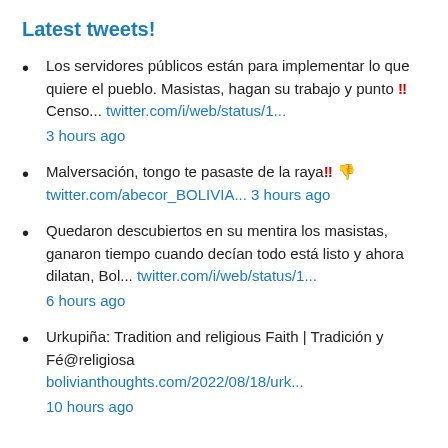Latest tweets!
Los servidores públicos están para implementar lo que quiere el pueblo. Masistas, hagan su trabajo y punto !! Censo... twitter.com/i/web/status/1... 3 hours ago
Malversación, tongo te pasaste de la raya !! 👎 twitter.com/abecor_BOLIVIA... 3 hours ago
Quedaron descubiertos en su mentira los masistas, ganaron tiempo cuando decían todo está listo y ahora dilatan, Bol... twitter.com/i/web/status/1... 6 hours ago
Urkupiña: Tradition and religious Faith | Tradición y Fé@religiosa bolivianthoughts.com/2022/08/18/urk... 10 hours ago